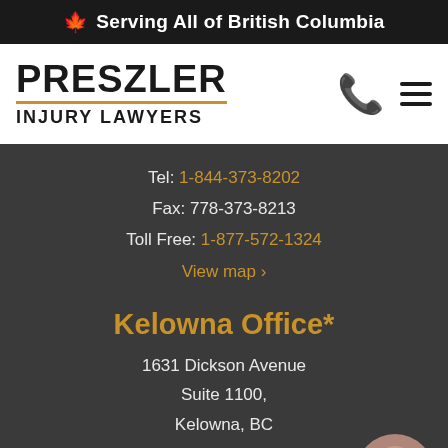🍁 Serving All of British Columbia
[Figure (logo): Preszler Injury Lawyers logo with phone and hamburger menu icons]
Tel: 1-844-373-8202
Fax: 778-373-8213
Toll Free: 1-877-572-1324
View map ›
Kelowna Office*
1631 Dickson Avenue
Suite 1100,
Kelowna, BC
Hi how can I help?
Tel: 778-807-0232